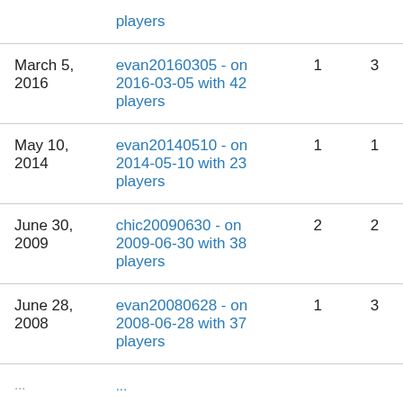|  | players |  |  |
| March 5, 2016 | evan20160305 - on 2016-03-05 with 42 players | 1 | 3 |
| May 10, 2014 | evan20140510 - on 2014-05-10 with 23 players | 1 | 1 |
| June 30, 2009 | chic20090630 - on 2009-06-30 with 38 players | 2 | 2 |
| June 28, 2008 | evan20080628 - on 2008-06-28 with 37 players | 1 | 3 |
| ... | ... | ... | ... |